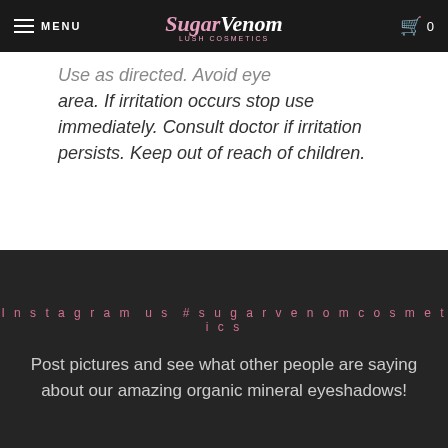MENU | SugarVenom | 0
Use as directed. Avoid eye area. If irritation occurs stop use immediately. Consult doctor if irritation persists. Keep out of reach of children.
Instagram us #sugarvenomcosmetics
Post pictures and see what other people are saying about our amazing organic mineral eyeshadows!